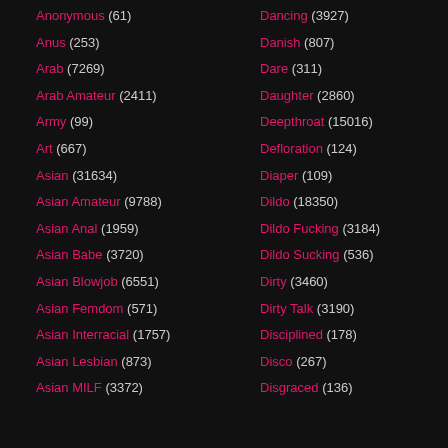Anonymous (61)
Anus (253)
Arab (7269)
Arab Amateur (2411)
Army (99)
Art (667)
Asian (31634)
Asian Amateur (9788)
Asian Anal (1959)
Asian Babe (3720)
Asian Blowjob (6551)
Asian Femdom (571)
Asian Interracial (1757)
Asian Lesbian (873)
Asian MILF (3372)
Dancing (3927)
Danish (807)
Dare (311)
Daughter (2860)
Deepthroat (15016)
Defloration (124)
Diaper (109)
Dildo (18350)
Dildo Fucking (3184)
Dildo Sucking (536)
Dirty (3460)
Dirty Talk (3190)
Disciplined (178)
Disco (267)
Disgraced (136)